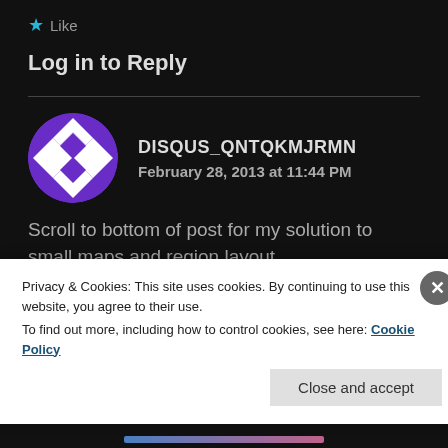★ Like
Log in to Reply
[Figure (illustration): Purple and white geometric/diamond-pattern avatar in a circle for user DISQUS_QNTQKMJRMN]
DISQUS_QNTQKMJRMN
February 28, 2013 at 11:44 PM
Scroll to bottom of post for my solution to small maps and region layout...
Im a 27 year old normal guy who is no one special
Privacy & Cookies: This site uses cookies. By continuing to use this website, you agree to their use.
To find out more, including how to control cookies, see here: Cookie Policy
Close and accept